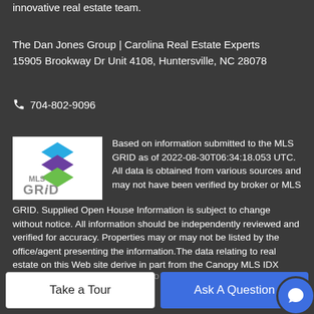innovative real estate team.
The Dan Jones Group | Carolina Real Estate Experts
15905 Brookway Dr Unit 4108, Huntersville, NC 28078
704-802-9096
[Figure (logo): MLS GRID logo with stacked blue, purple, and green diamond shapes above the text 'MLS GRiD']
Based on information submitted to the MLS GRID as of 2022-08-30T06:34:18.053 UTC. All data is obtained from various sources and may not have been verified by broker or MLS GRID. Supplied Open House Information is subject to change without notice. All information should be independently reviewed and verified for accuracy. Properties may or may not be listed by the office/agent presenting the information.The data relating to real estate on this Web site derive in part from the Canopy MLS IDX program. Brokers make an effort to deliver accurate information,
Take a Tour
Ask A Question